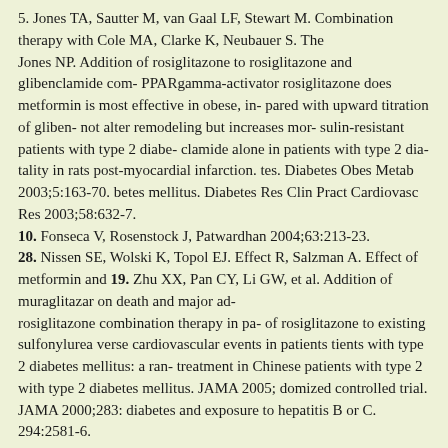5. Jones TA, Sautter M, van Gaal LF, Stewart M. Combination therapy with Cole MA, Clarke K, Neubauer S. The Jones NP. Addition of rosiglitazone to rosiglitazone and glibenclamide com- PPARgamma-activator rosiglitazone does metformin is most effective in obese, in- pared with upward titration of gliben- not alter remodeling but increases mor- sulin-resistant patients with type 2 diabe- clamide alone in patients with type 2 dia- tality in rats post-myocardial infarction. tes. Diabetes Obes Metab 2003;5:163-70. betes mellitus. Diabetes Res Clin Pract Cardiovasc Res 2003;58:632-7. 10. Fonseca V, Rosenstock J, Patwardhan 2004;63:213-23. 28. Nissen SE, Wolski K, Topol EJ. Effect R, Salzman A. Effect of metformin and 19. Zhu XX, Pan CY, Li GW, et al. Addition of muraglitazar on death and major ad- rosiglitazone combination therapy in pa- of rosiglitazone to existing sulfonylurea verse cardiovascular events in patients tients with type 2 diabetes mellitus: a ran- treatment in Chinese patients with type 2 with type 2 diabetes mellitus. JAMA 2005; domized controlled trial. JAMA 2000;283: diabetes and exposure to hepatitis B or C. 294:2581-6.